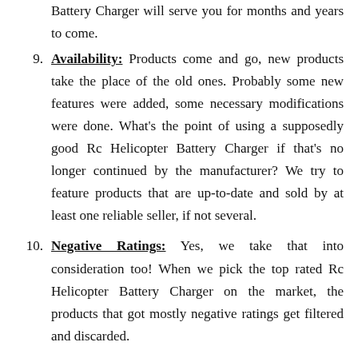Battery Charger will serve you for months and years to come.
9. Availability: Products come and go, new products take the place of the old ones. Probably some new features were added, some necessary modifications were done. What's the point of using a supposedly good Rc Helicopter Battery Charger if that's no longer continued by the manufacturer? We try to feature products that are up-to-date and sold by at least one reliable seller, if not several.
10. Negative Ratings: Yes, we take that into consideration too! When we pick the top rated Rc Helicopter Battery Charger on the market, the products that got mostly negative ratings get filtered and discarded.